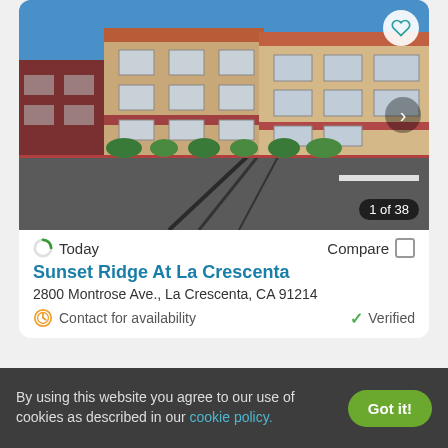[Figure (photo): Exterior photo of Sunset Ridge At La Crescenta apartment complex — multi-story beige and red brick buildings with terracotta roofs along a wide street. Photo counter shows 1 of 38.]
Today
Compare
Sunset Ridge At La Crescenta
2800 Montrose Ave., La Crescenta, CA 91214
Contact for availability
Verified
By using this website you agree to our use of cookies as described in our cookie policy.
Got it!